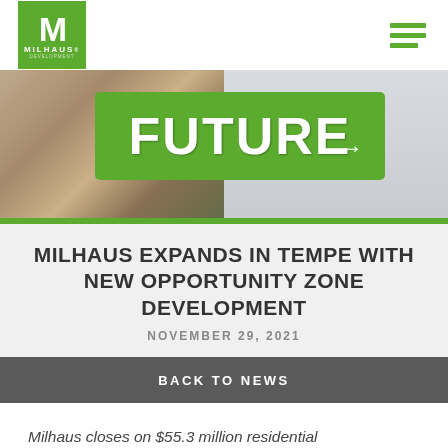[Figure (logo): Milhaus logo: green square with white M and MILHAUS text]
[Figure (photo): Photo of a green street sign reading FUTURE with an arrow, mounted on a weathered brick wall]
MILHAUS EXPANDS IN TEMPE WITH NEW OPPORTUNITY ZONE DEVELOPMENT
NOVEMBER 29, 2021
BACK TO NEWS
Milhaus closes on $55.3 million residential